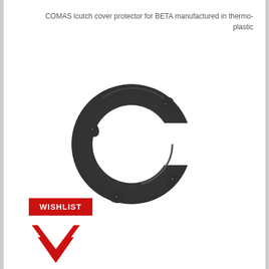COMAS lcutch cover protector for BETA manufactured in thermo-plastic
[Figure (photo): C-shaped clutch cover protector made of dark textured thermoplastic material with mounting tabs/holes, for BETA motorcycles by COMAS]
[Figure (other): Red WISHLIST button label]
[Figure (logo): Red M-shaped brand logo (Motoland or similar)]